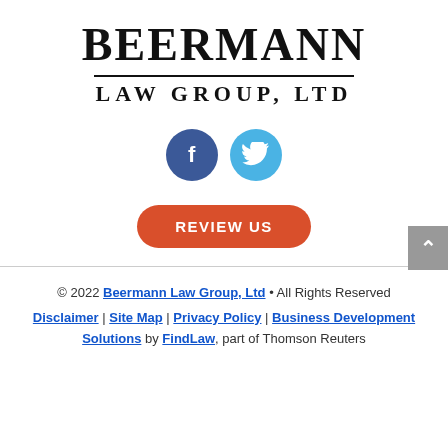[Figure (logo): Beermann Law Group, Ltd logo with serif font and horizontal rule between name lines]
[Figure (infographic): Facebook and Twitter social media icon circles — dark blue Facebook 'f' and light blue Twitter bird]
REVIEW US
© 2022 Beermann Law Group, Ltd • All Rights Reserved
Disclaimer | Site Map | Privacy Policy | Business Development Solutions by FindLaw, part of Thomson Reuters